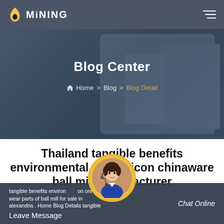MINING
Blog Center
Home > Blog > Blog Detail
Thailand tangible benefits environmental ferrosilicon chinaware ball mill manufacturer
tangible benefits environmental ferrosilicon ore wear parts of ball mill for sale in alexandria . Home Blog Details tangible
Leave Message
Chat Online